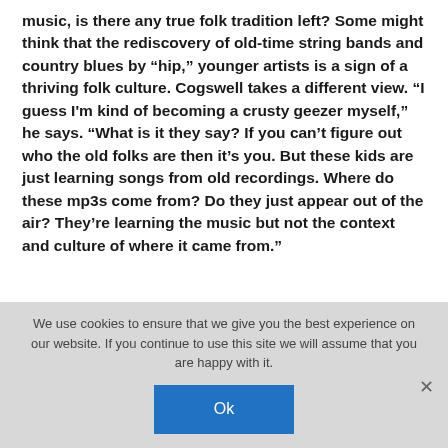music, is there any true folk tradition left? Some might think that the rediscovery of old-time string bands and country blues by "hip," younger artists is a sign of a thriving folk culture. Cogswell takes a different view. "I guess I'm kind of becoming a crusty geezer myself," he says. "What is it they say? If you can't figure out who the old folks are then it's you. But these kids are just learning songs from old recordings. Where do these mp3s come from? Do they just appear out of the air? They're learning the music but not the context and culture of where it came from."
We use cookies to ensure that we give you the best experience on our website. If you continue to use this site we will assume that you are happy with it.